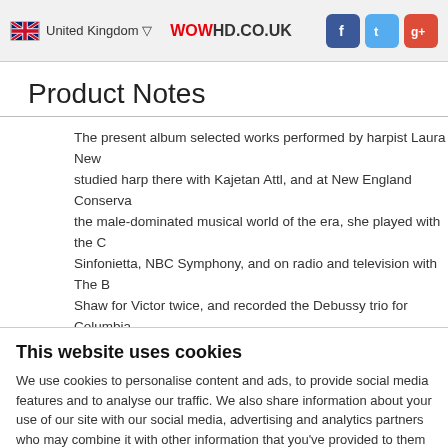United Kingdom ▽  WOWHD.CO.UK
Product Notes
The present album selected works performed by harpist Laura New studied harp there with Kajetan Attl, and at New England Conserva the male-dominated musical world of the era, she played with the Sinfonietta, NBC Symphony, and on radio and television with The B Shaw for Victor twice, and recorded the Debussy trio for Columbia and Allegro, with the New Friends of Rhythm, and these recordings genres. Her student and close friend, founding editor of the Americ heard." She retired in the early 1970s and devoted her creative act York City January 24, 1981"." (Jay Shulman)
This website uses cookies
We use cookies to personalise content and ads, to provide social media features and to analyse our traffic. We also share information about your use of our site with our social media, advertising and analytics partners who may combine it with other information that you've provided to them or that they've collected from your use of their services.
OK  Show details